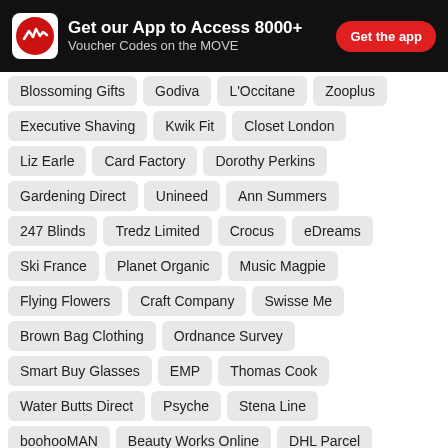Get our App to Access 8000+ Voucher Codes on the MOVE  Get the app
Blossoming Gifts
Godiva
L'Occitane
Zooplus
Executive Shaving
Kwik Fit
Closet London
Liz Earle
Card Factory
Dorothy Perkins
Gardening Direct
Unineed
Ann Summers
247 Blinds
Tredz Limited
Crocus
eDreams
Ski France
Planet Organic
Music Magpie
Flying Flowers
Craft Company
Swisse Me
Brown Bag Clothing
Ordnance Survey
Smart Buy Glasses
EMP
Thomas Cook
Water Butts Direct
Psyche
Stena Line
boohooMAN
Beauty Works Online
DHL Parcel
Hunkemoller
Away Resorts
Joules